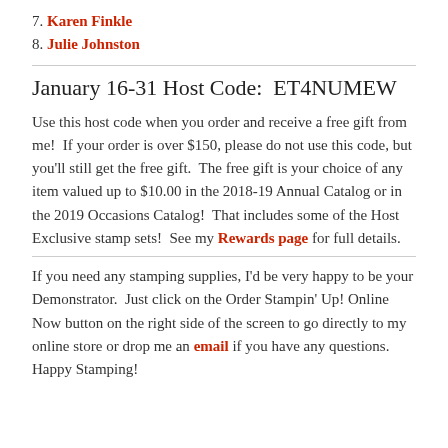7. Karen Finkle
8. Julie Johnston
January 16-31 Host Code:  ET4NUMEW
Use this host code when you order and receive a free gift from me!  If your order is over $150, please do not use this code, but you'll still get the free gift.  The free gift is your choice of any item valued up to $10.00 in the 2018-19 Annual Catalog or in the 2019 Occasions Catalog!  That includes some of the Host Exclusive stamp sets!  See my Rewards page for full details.
If you need any stamping supplies, I'd be very happy to be your Demonstrator.  Just click on the Order Stampin' Up! Online Now button on the right side of the screen to go directly to my online store or drop me an email if you have any questions.  Happy Stamping!